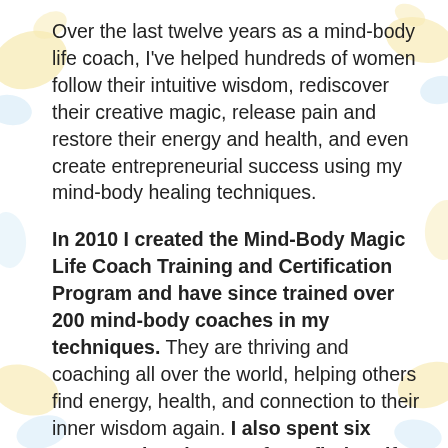Over the last twelve years as a mind-body life coach, I've helped hundreds of women follow their intuitive wisdom, rediscover their creative magic, release pain and restore their energy and health, and even create entrepreneurial success using my mind-body healing techniques.
In 2010 I created the Mind-Body Magic Life Coach Training and Certification Program and have since trained over 200 mind-body coaches in my techniques. They are thriving and coaching all over the world, helping others find energy, health, and connection to their inner wisdom again. I also spent six years as the Director of Wayfinder Life Coach Training for Martha Beck, Inc., and I've carried my expertise around creating an inspiring learning environment for adults into